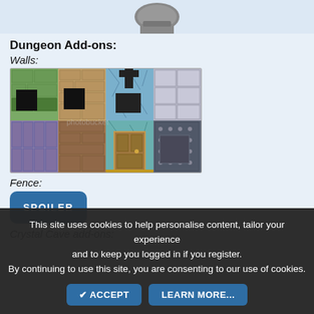[Figure (illustration): Top portion of a pixel art character sprite (bottom cropped), showing a helmet/hat shape in gray.]
Dungeon Add-ons:
Walls:
[Figure (illustration): Pixel art dungeon wall tiles showing various textures: green stone, sandstone, cracked blue-gray, silver metal (top row); purple stone, brown brick, wooden door, studded metal door (bottom row). Photobucket watermark visible.]
Fence:
SPOILER
Crystal Cave add-ons:
This site uses cookies to help personalise content, tailor your experience and to keep you logged in if you register. By continuing to use this site, you are consenting to our use of cookies.